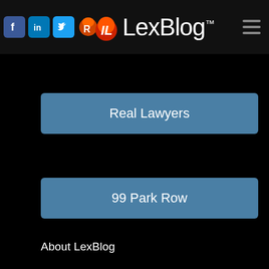LexBlog
Real Lawyers
99 Park Row
About LexBlog
Careers
Press
Contact LexBlog
Privacy Policy
Editorial Policy
Disclaimer
Terms of Service